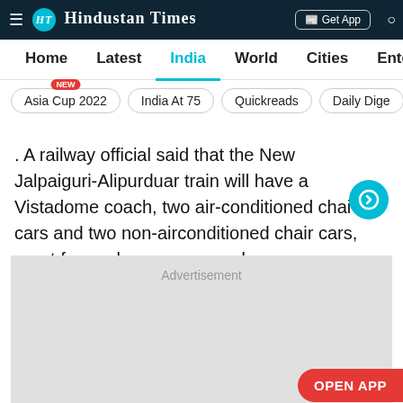Hindustan Times
Home | Latest | India | World | Cities | Entertainment
Asia Cup 2022 NEW | India At 75 | Quickreads | Daily Dige
. A railway official said that the New Jalpaiguri-Alipurduar train will have a Vistadome coach, two air-conditioned chair cars and two non-airconditioned chair cars, apart from a luggage car and a power coach.
[Figure (other): Advertisement placeholder box with OPEN APP button]